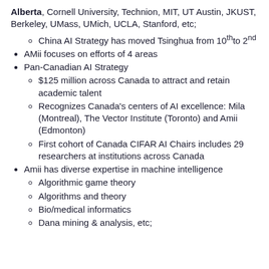Alberta, Cornell University, Technion, MIT, UT Austin, JKUST, Berkeley, UMass, UMich, UCLA, Stanford, etc;
China AI Strategy has moved Tsinghua from 10th to 2nd
AMii focuses on efforts of 4 areas
Pan-Canadian AI Strategy
$125 million across Canada to attract and retain academic talent
Recognizes Canada's centers of AI excellence: Mila (Montreal), The Vector Institute (Toronto) and Amii (Edmonton)
First cohort of Canada CIFAR AI Chairs includes 29 researchers at institutions across Canada
Amii has diverse expertise in machine intelligence
Algorithmic game theory
Algorithms and theory
Bio/medical informatics
Dana mining & analysis, etc;